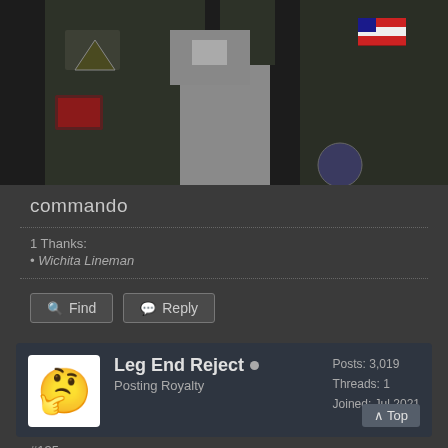[Figure (photo): Two people in dark military/commando style jackets with patches including an American flag patch, in an outdoor setting]
commando
1 Thanks:
• Wichita Lineman
Find  Reply
Leg End Reject
Posting Royalty
Posts: 3,019
Threads: 1
Joined: Jul 2021
#135